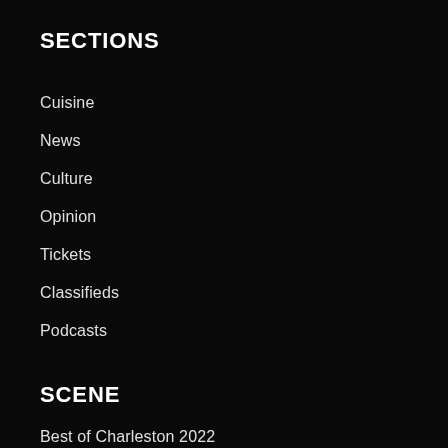SECTIONS
Cuisine
News
Culture
Opinion
Tickets
Classifieds
Podcasts
SCENE
Best of Charleston 2022
EAT: Dish dining guide